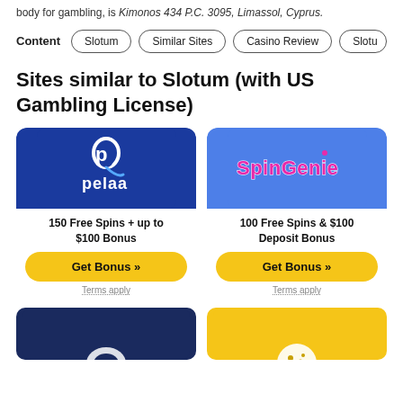body for gambling, is Kimonos 434 P.C. 3095, Limassol, Cyprus.
Content  Slotum  Similar Sites  Casino Review  Slotu...
Sites similar to Slotum (with US Gambling License)
[Figure (logo): Pelaa casino card with blue background showing pelaa logo, bonus text '150 Free Spins + up to $100 Bonus', yellow 'Get Bonus »' button, and 'Terms apply' link]
[Figure (logo): SpinGenie casino card with blue background showing SpinGenie logo in pink/magenta, bonus text '100 Free Spins & $100 Deposit Bonus', yellow 'Get Bonus »' button, and 'Terms apply' link]
[Figure (logo): Partially visible dark blue casino card at bottom left]
[Figure (logo): Partially visible yellow casino card at bottom right with cookie/ball icon]